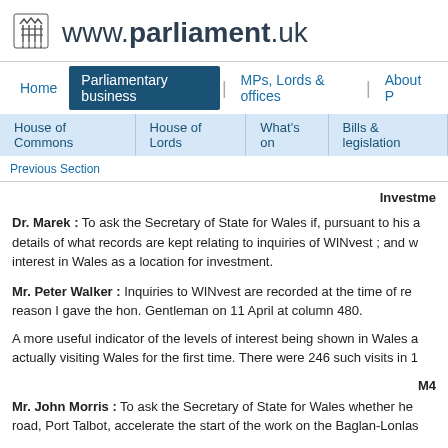www.parliament.uk
Home | Parliamentary business | MPs, Lords & offices | About Parliament
House of Commons | House of Lords | What's on | Bills & legislation
Previous Section
Investment
Dr. Marek : To ask the Secretary of State for Wales if, pursuant to his answer, details of what records are kept relating to inquiries of WINvest ; and what interest in Wales as a location for investment.
Mr. Peter Walker : Inquiries to WINvest are recorded at the time of receipt for the reason I gave the hon. Gentleman on 11 April at column 480.

A more useful indicator of the levels of interest being shown in Wales as actually visiting Wales for the first time. There were 246 such visits in 1
M4
Mr. John Morris : To ask the Secretary of State for Wales whether he road, Port Talbot, accelerate the start of the work on the Baglan-Lonlas
Mr. Peter Walker : The Parliament...